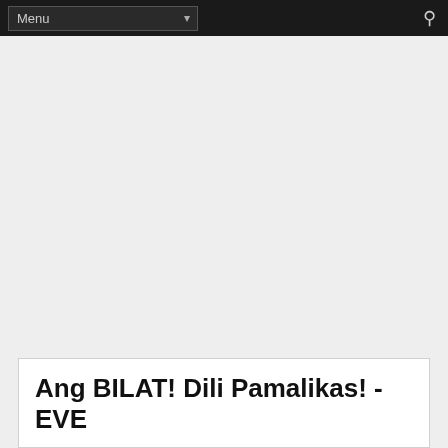Menu
Ang BILAT! Dili Pamalikas! - EVE